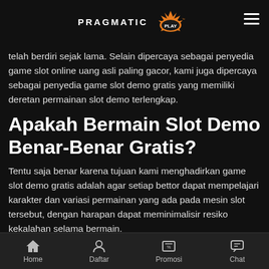PRAGMATIC PLAY
telah berdiri sejak lama. Selain dipercaya sebagai penyedia game slot online uang asli paling gacor, kami juga dipercaya sebagai penyedia game slot demo gratis yang memiliki deretan permainan slot demo terlengkap.
Apakah Bermain Slot Demo Benar-Benar Gratis?
Tentu saja benar karena tujuan kami menghadirkan game slot demo gratis adalah agar setiap bettor dapat mempelajari karakter dan variasi permainan yang ada pada mesin slot tersebut, dengan harapan dapat meminimalisir resiko kekalahan selama bermain.
Apakah Game Slot Gratis Sama Dengan Permainan Slot Uang
Home   Daftar   Promosi   Chat